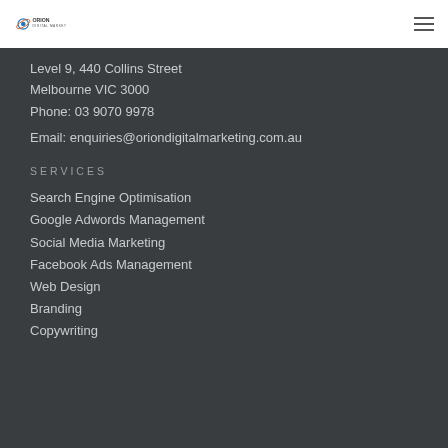Orion Digital Marketing — navigation header
Level 9, 440 Collins Street
Melbourne VIC 3000
Phone: 03 9070 9978
Email: enquiries@oriondigitalmarketing.com.au
SERVICES
Search Engine Optimisation
Google Adwords Management
Social Media Marketing
Facebook Ads Management
Web Design
Branding
Copywriting